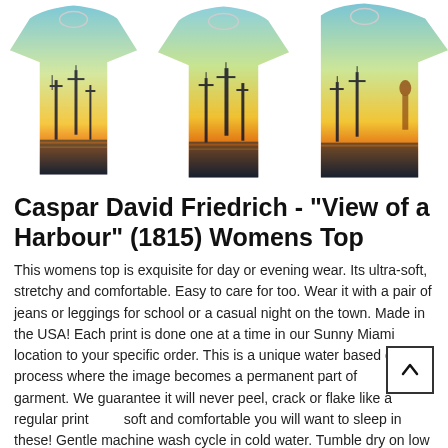[Figure (photo): Three women's t-shirts displayed side by side, each printed with Caspar David Friedrich's 'View of a Harbour' (1815) painting showing tall ships at sunset with orange and yellow sky.]
Caspar David Friedrich - "View of a Harbour" (1815) Womens Top
This womens top is exquisite for day or evening wear. Its ultra-soft, stretchy and comfortable. Easy to care for too. Wear it with a pair of jeans or leggings for school or a casual night on the town. Made in the USA! Each print is done one at a time in our Sunny Miami location to your specific order. This is a unique water based dye process where the image becomes a permanent part of the garment. We guarantee it will never peel, crack or flake like a regular print. So soft and comfortable you will want to sleep in these! Gentle machine wash cycle in cold water. Tumble dry on low heat. 95 Percent Microfiber-Poly/5 Percent Spandex.